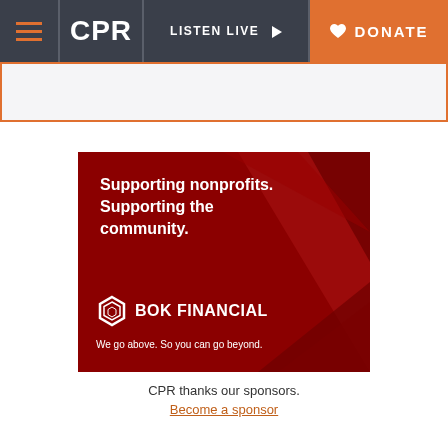CPR | LISTEN LIVE | DONATE
[Figure (advertisement): BOK Financial advertisement on dark red background with geometric polygon shapes. Text reads: 'Supporting nonprofits. Supporting the community.' with BOK Financial logo and tagline 'We go above. So you can go beyond.']
CPR thanks our sponsors.
Become a sponsor